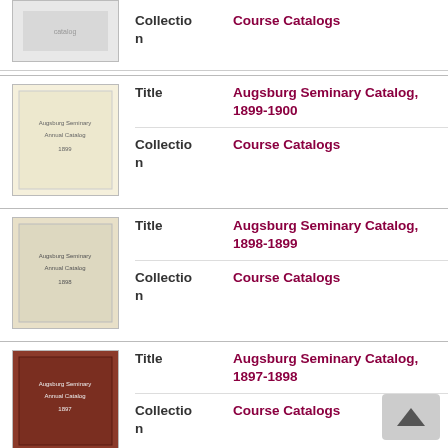Collection: Course Catalogs (partial top item)
Title: Augsburg Seminary Catalog, 1899-1900 | Collection: Course Catalogs
Title: Augsburg Seminary Catalog, 1898-1899 | Collection: Course Catalogs
Title: Augsburg Seminary Catalog, 1897-1898 | Collection: Course Catalogs